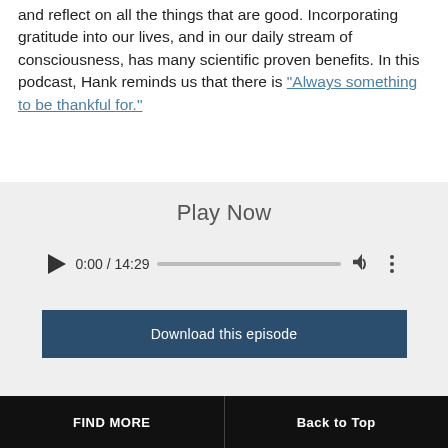and reflect on all the things that are good. Incorporating gratitude into our lives, and in our daily stream of consciousness, has many scientific proven benefits. In this podcast, Hank reminds us that there is "Always something to be thankful for."
[Figure (screenshot): Audio player widget with Play Now label, play button, time display showing 0:00 / 14:29, progress bar, volume icon, more options icon, and a Download this episode button]
FIND MORE   Back to Top